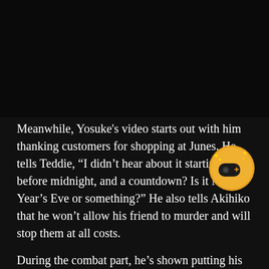[Figure (other): Dark/black rectangular area at top of page, appears to be a video thumbnail or image]
Meanwhile, Yosuke's video starts out with him thanking customers for shopping at Junes. He tells Teddie, “I didn’t hear about it starting before midnight, and a countdown? Is it New Year’s Eve or something?” He also tells Akihiko that he won’t allow his friend to murder and will stop them at all costs.
[Figure (logo): Round golden badge/icon with a game controller and plus sign, with sparkles]
During the combat part, he’s shown putting his